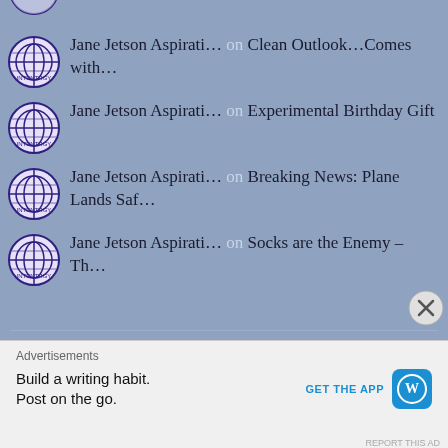Jane Jetson Aspirati... on Clean Outlook...Comes with...
Jane Jetson Aspirati... on Experimental Birthday Gift
Jane Jetson Aspirati... on Breaking News: Plane Lands Saf...
Jane Jetson Aspirati... on Socks are the Enemy – Th...
Advertisements
Build a writing habit. Post on the go. GET THE APP